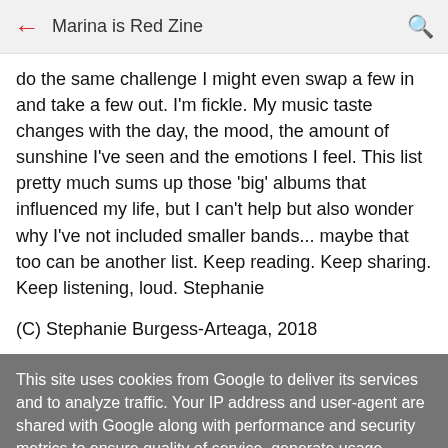Marina is Red Zine
do the same challenge I might even swap a few in and take a few out. I'm fickle. My music taste changes with the day, the mood, the amount of sunshine I've seen and the emotions I feel. This list pretty much sums up those 'big' albums that influenced my life, but I can't help but also wonder why I've not included smaller bands... maybe that too can be another list. Keep reading. Keep sharing. Keep listening, loud. Stephanie
(C) Stephanie Burgess-Arteaga, 2018
This site uses cookies from Google to deliver its services and to analyze traffic. Your IP address and user-agent are shared with Google along with performance and security metrics to ensure quality of service, generate usage statistics, and to detect and address abuse.
LEARN MORE   OK